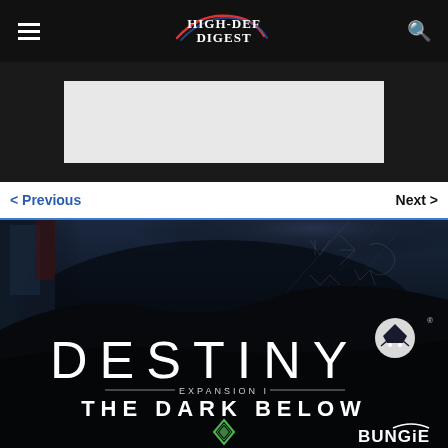High-Def Digest
[Figure (screenshot): Advertisement placeholder - grey rectangle on dark background]
< Previous    Next >
[Figure (photo): Destiny Expansion I: The Dark Below game cover art. Shows armored characters on dark atmospheric background with the DESTINY logo in large white text, 'Expansion I' subtitle with horizontal rules, 'THE DARK BELOW' in bold white text below, a diamond/ghost icon, Destiny symbol at top right, and Bungie logo at bottom right.]